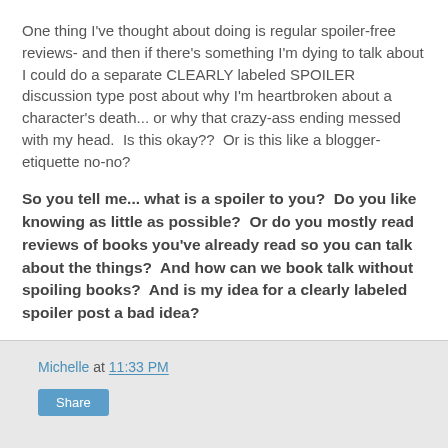One thing I've thought about doing is regular spoiler-free reviews- and then if there's something I'm dying to talk about I could do a separate CLEARLY labeled SPOILER discussion type post about why I'm heartbroken about a character's death... or why that crazy-ass ending messed with my head.  Is this okay??  Or is this like a blogger-etiquette no-no?
So you tell me... what is a spoiler to you?  Do you like knowing as little as possible?  Or do you mostly read reviews of books you've already read so you can talk about the things?  And how can we book talk without spoiling books?  And is my idea for a clearly labeled spoiler post a bad idea?
Michelle at 11:33 PM  Share